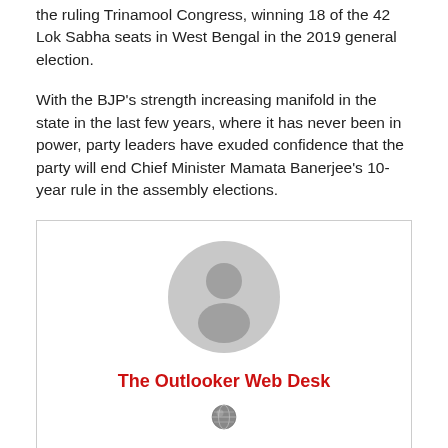the ruling Trinamool Congress, winning 18 of the 42 Lok Sabha seats in West Bengal in the 2019 general election.
With the BJP's strength increasing manifold in the state in the last few years, where it has never been in power, party leaders have exuded confidence that the party will end Chief Minister Mamata Banerjee's 10-year rule in the assembly elections.
[Figure (illustration): Author card with grey default avatar icon, author name 'The Outlooker Web Desk' in red bold text, and a small globe icon below.]